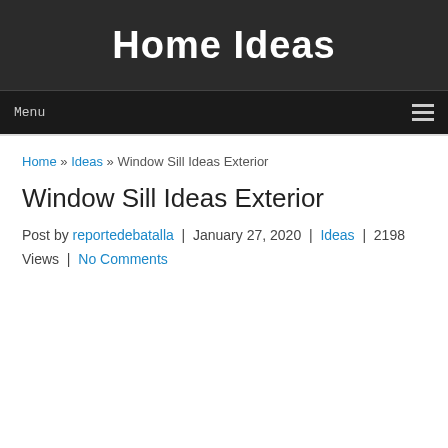Home Ideas
Menu
Home » Ideas » Window Sill Ideas Exterior
Window Sill Ideas Exterior
Post by reportedebatalla | January 27, 2020 | Ideas | 2198 Views | No Comments